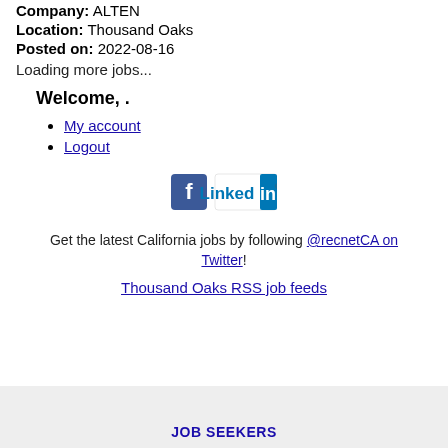Company: ALTEN
Location: Thousand Oaks
Posted on: 2022-08-16
Loading more jobs...
Welcome, .
My account
Logout
[Figure (logo): Facebook and LinkedIn social media icons]
Get the latest California jobs by following @recnetCA on Twitter!
Thousand Oaks RSS job feeds
JOB SEEKERS